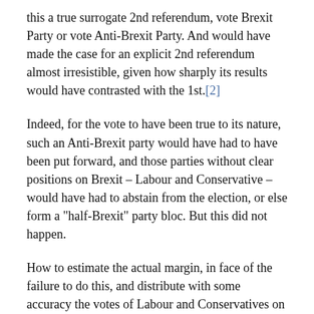this a true surrogate 2nd referendum, vote Brexit Party or vote Anti-Brexit Party. And would have made the case for an explicit 2nd referendum almost irresistible, given how sharply its results would have contrasted with the 1st.[2]
Indeed, for the vote to have been true to its nature, such an Anti-Brexit party would have had to have been put forward, and those parties without clear positions on Brexit – Labour and Conservative – would have had to abstain from the election, or else form a "half-Brexit" party bloc. But this did not happen.
How to estimate the actual margin, in face of the failure to do this, and distribute with some accuracy the votes of Labour and Conservatives on the actual question which was Brexit? One could wish for more complete information on this from exit polls. However, other